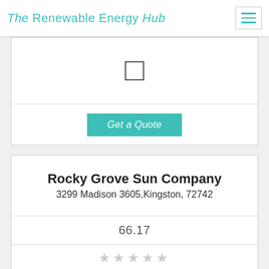The Renewable Energy Hub
[Figure (other): Checkbox (unchecked) in top card]
Get a Quote
Rocky Grove Sun Company
3299 Madison 3605,Kingston, 72742
66.17
[Figure (other): Star rating (5 empty stars)]
[Figure (other): Checkbox (unchecked) in bottom card]